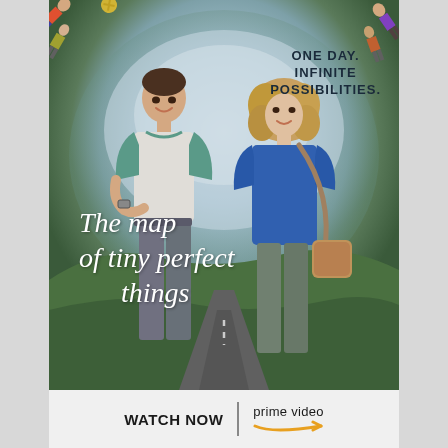[Figure (photo): Movie poster for 'The Map of Tiny Perfect Things' on Amazon Prime Video. A teenage boy in a teal raglan shirt and a girl with curly blonde hair in a blue sweater stand facing each other in a fisheye-lens landscape. The tagline reads 'ONE DAY. INFINITE POSSIBILITIES.' The movie title is written in handwritten white script. The bottom bar shows 'WATCH NOW | prime video' with the Amazon logo.]